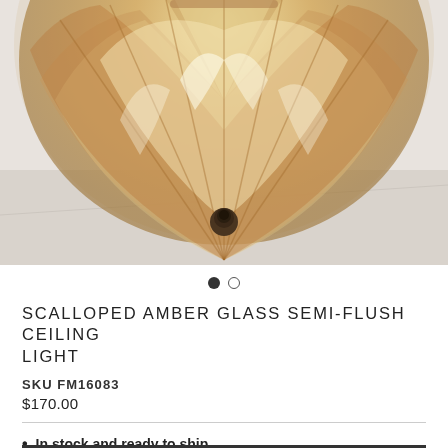[Figure (photo): Close-up photo of a scalloped amber glass semi-flush ceiling light fixture with ribbed/fluted glass panels in warm amber/champagne tones mounted against a white ceiling. A dark bronze central fitting is visible at the bottom of the globe.]
● ○
SCALLOPED AMBER GLASS SEMI-FLUSH CEILING LIGHT
SKU FM16083
$170.00
In stock and ready to ship